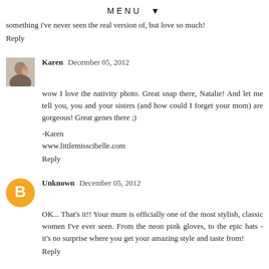MENU ▼
something i've never seen the real version of, but love so much!
Reply
Karen  December 05, 2012
wow I love the nativity photo. Great snap there, Natalie! And let me tell you, you and your sisters (and how could I forget your mom) are gorgeous! Great genes there ;)

-Karen
www.littlemisscibelle.com
Reply
Unknown  December 05, 2012
OK... That's it!! Your mum is officially one of the most stylish, classic women I've ever seen. From the neon pink gloves, to the epic hats - it's no surprise where you get your amazing style and taste from!
Reply